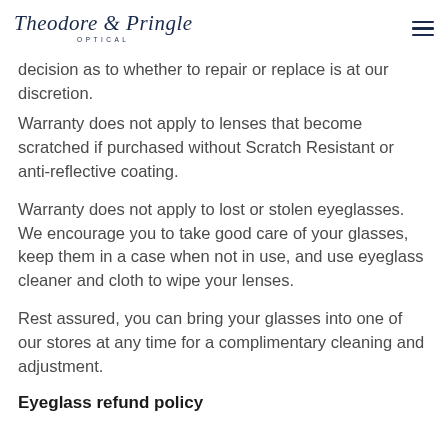Theodore & Pringle OPTICAL
decision as to whether to repair or replace is at our discretion.
Warranty does not apply to lenses that become scratched if purchased without Scratch Resistant or anti-reflective coating.
Warranty does not apply to lost or stolen eyeglasses. We encourage you to take good care of your glasses, keep them in a case when not in use, and use eyeglass cleaner and cloth to wipe your lenses.
Rest assured, you can bring your glasses into one of our stores at any time for a complimentary cleaning and adjustment.
Eyeglass refund policy